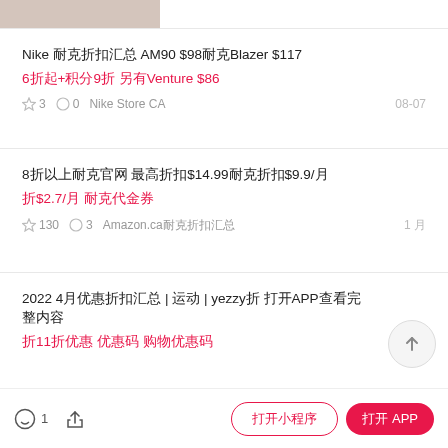[Figure (photo): Partial image at top left, cropped product photo]
Nike 耐克折扣汇总 AM90 $98耐克Blazer $117
6折起+积分9折 另有Venture $86
☆ 3   ○ 0   Nike Store CA   08-07
8折以上耐克官网 最高折扣$14.99耐克折扣$9.9/月
折$2.7/月 耐克代金券
☆ 130   ○ 3   Amazon.ca耐克折扣汇总   1 月
2022 4月优惠折扣汇总 | 运动 | yezzy折 打开APP查看完整内容
折11折优惠 优惠码 购物优惠码
○ 1   分享   打开小程序   打开 APP